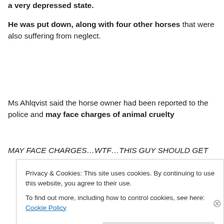a very depressed state.
He was put down, along with four other horses that were also suffering from neglect.
Ms Ahlqvist said the horse owner had been reported to the police and may face charges of animal cruelty
MAY FACE CHARGES…WTF…THIS GUY SHOULD GET
Privacy & Cookies: This site uses cookies. By continuing to use this website, you agree to their use. To find out more, including how to control cookies, see here: Cookie Policy